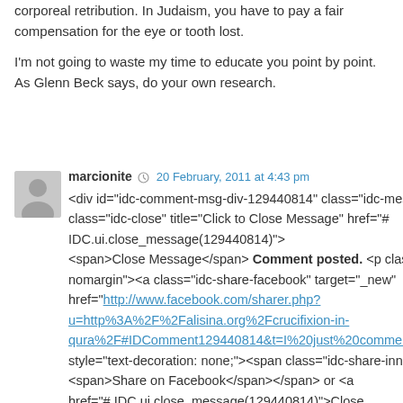corporeal retribution. In Judaism, you have to pay a fair compensation for the eye or tooth lost.
I'm not going to waste my time to educate you point by point. As Glenn Beck says, do your own research.
marcionite  20 February, 2011 at 4:43 pm
<div id="idc-comment-msg-div-129440814" class="idc-message"><a class="idc-close" title="Click to Close Message" href="javascript: IDC.ui.close_message(129440814)"><span>Close Message</span> Comment posted. <p class="idc-nomargin"><a class="idc-share-facebook" target="_new" href="http://www.facebook.com/sharer.php?u=http%3A%2F%2Falisina.org%2Fcrucifixion-in-qura%2F#IDComment129440814&t=I%20just%20commented%20on style="text-decoration: none;"><span class="idc-share-inner"><span>Share on Facebook</span></span> or <a href="javascript: IDC.ui.close_message(129440814)">Close Message Christian scholars have for centuries deliberately